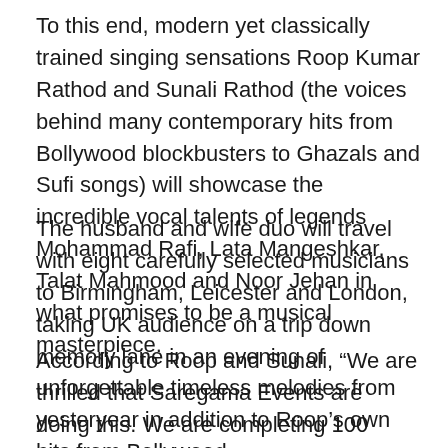To this end, modern yet classically trained singing sensations Roop Kumar Rathod and Sunali Rathod (the voices behind many contemporary hits from Bollywood blockbusters to Ghazals and Sufi songs) will showcase the incredible vocal talents of legends Mohammad Rafi, Lata Mangeshkar, Talat Mahmood and Noor Jehan in what promises to be a musical masterpiece.
The husband and wife duo will travel with eight carefully selected musicians to Birmingham, Leicester and London, taking UK audience on a trip down memory lane in an evening of unforgettable timeless melodies from yesteryear in addition to Roop's own hits from Bollywood.
According to Roop and Sunali, “We are thrilled that Saregama Events are doing this. We are completing 100 years of Indian cinema next year, but if we try to count the names and pay homage to all those responsible it